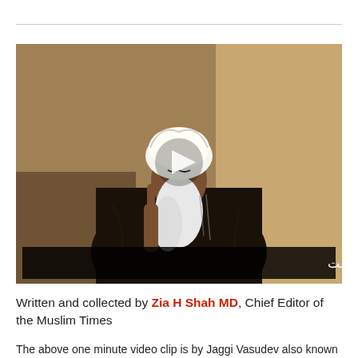[Figure (screenshot): Video thumbnail showing an elderly bearded man with white beard wearing a white turban and dark robes, pointing upward with one finger. A play button is overlaid in the center. Persian/Urdu subtitle text at bottom reads: این بزرگترین جنایت بر بشریت است]
Written and collected by Zia H Shah MD, Chief Editor of the Muslim Times
The above one minute video clip is by Jaggi Vasudev also known